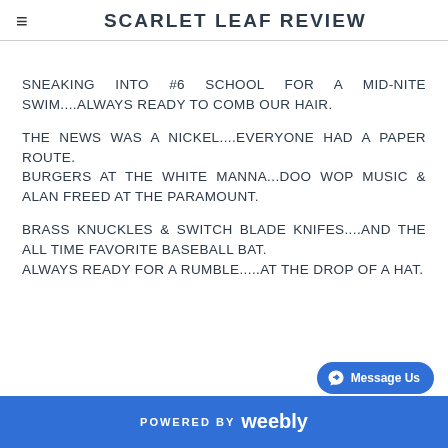SCARLET LEAF REVIEW
SNEAKING INTO #6 SCHOOL FOR A MID-NITE SWIM....ALWAYS READY TO COMB OUR HAIR.
THE NEWS WAS A NICKEL....EVERYONE HAD A PAPER ROUTE.
BURGERS AT THE WHITE MANNA...DOO WOP MUSIC & ALAN FREED AT THE PARAMOUNT.
BRASS KNUCKLES & SWITCH BLADE KNIFES....AND THE ALL TIME FAVORITE BASEBALL BAT.
ALWAYS READY FOR A RUMBLE.....AT THE DROP OF A HAT.
POWERED BY weebly